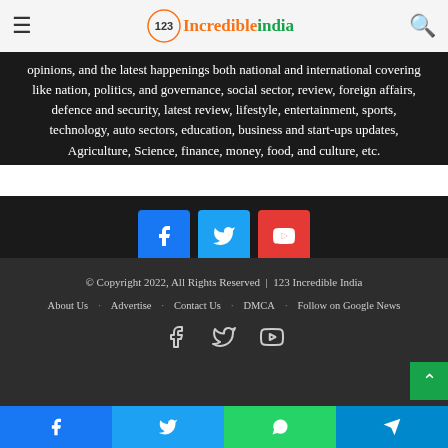123 Incredible India — navigation bar with hamburger menu, logo, and search icon
opinions, and the latest happenings both national and international covering like nation, politics, and governance, social sector, review, foreign affairs, defence and security, latest review, lifestyle, entertainment, sports, technology, auto sectors, education, business and start-ups updates, Agriculture, Science, finance, money, food, and culture, etc.
[Figure (infographic): Three social media buttons: Facebook (blue), Twitter (cyan), YouTube (red)]
© Copyright 2022, All Rights Reserved | 123 Incredible India
About Us  Advertise  Contact Us  DMCA  Follow on Google News
[Figure (infographic): Footer social icons: Facebook, Twitter, YouTube (grey outlines)]
Facebook  Twitter  WhatsApp  Telegram share bar